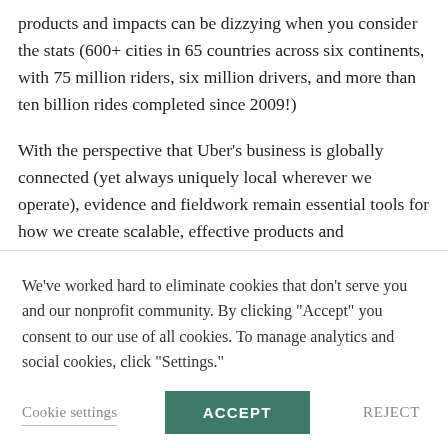products and impacts can be dizzying when you consider the stats (600+ cities in 65 countries across six continents, with 75 million riders, six million drivers, and more than ten billion rides completed since 2009!)
With the perspective that Uber's business is globally connected (yet always uniquely local wherever we operate), evidence and fieldwork remain essential tools for how we create scalable, effective products and experiences that support a connected world. We
We've worked hard to eliminate cookies that don't serve you and our nonprofit community. By clicking "Accept" you consent to our use of all cookies. To manage analytics and social cookies, click "Settings."